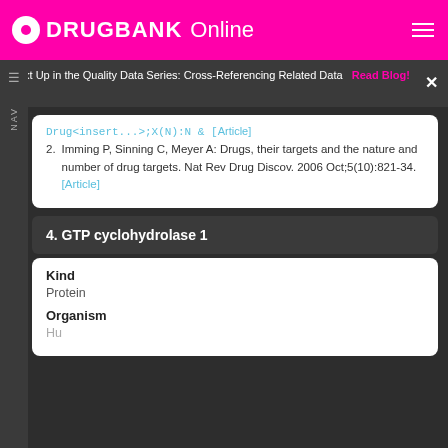DRUGBANK Online
Next Up in the Quality Data Series: Cross-Referencing Related Data  Read Blog!  ×
2. Imming P, Sinning C, Meyer A: Drugs, their targets and the nature and number of drug targets. Nat Rev Drug Discov. 2006 Oct;5(10):821-34. [Article]
4. GTP cyclohydrolase 1
Kind
Protein
Organism